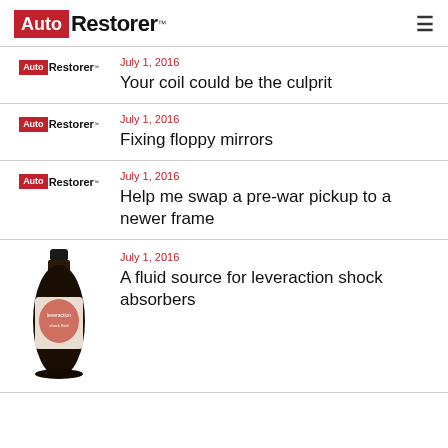Auto Restorer
July 1, 2016 — Your coil could be the culprit
July 1, 2016 — Fixing floppy mirrors
July 1, 2016 — Help me swap a pre-war pickup to a newer frame
July 1, 2016 — A fluid source for leveraction shock absorbers